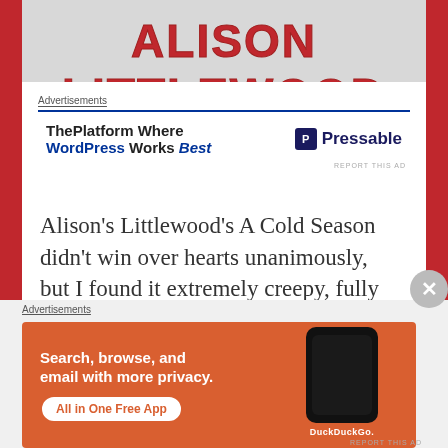[Figure (photo): Top banner with 'ALISON LITTLEWOOD' text in red on grey/white snowy background]
Advertisements
[Figure (infographic): Pressable advertisement: 'ThePlatform Where WordPress Works Best' with Pressable logo]
Alison's Littlewood's A Cold Season didn't win over hearts unanimously, but I found it extremely creepy, fully engaging and chilling to the marrow. There's a slick Wicker Man vibe to this slow burn creeper, which comes highly recommended!
Advertisements
[Figure (photo): DuckDuckGo advertisement: 'Search, browse, and email with more privacy. All in One Free App' with phone mockup and DuckDuckGo logo]